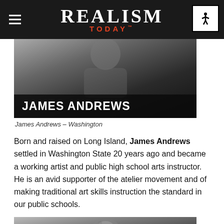REALISM TODAY
[Figure (photo): Black and white photo of James Andrews with his name overlaid in white text on a dark banner at the bottom]
James Andrews – Washington
Born and raised on Long Island, James Andrews settled in Washington State 20 years ago and became a working artist and public high school arts instructor. He is an avid supporter of the atelier movement and of making traditional art skills instruction the standard in our public schools.
[Figure (photo): Black and white photo of a woman with straight hair looking at the camera]